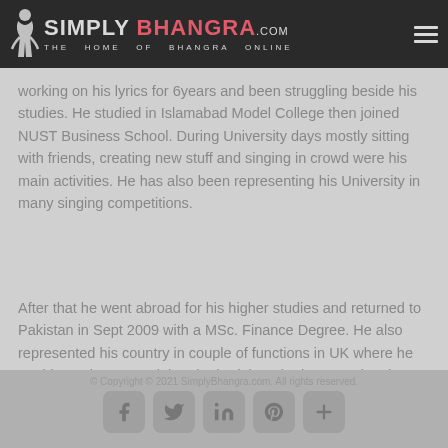Simply Bhangra .com — The Home of Bhangra Online
working on his lyrics for 6years and been struggling beside his studies. He studied in Islamabad Model College then joined NUST Business School. During University days mostly sitting with friends, creating new stuff and singing in crowd were his main activities. He has also been representing his University in many singing competitions.
After that he went abroad for his higher studies and returned to Pakistan in Sept 2009 with a MSc. Finance Degree. He also represented his country in couple of functions in UK where he got big applauses and then he had thought that next time he should be on a real big stage.  According to Tabish "There is no success without Allah's help and parents support &
© Copyright © 2021 SimplyBhangra.com. All rights reserved.